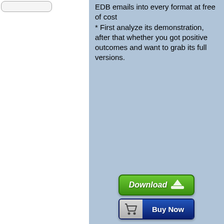EDB emails into every format at free of cost * First analyze its demonstration, after that whether you got positive outcomes and want to grab its full versions.
[Figure (screenshot): Green Download button with downward arrow icon]
[Figure (screenshot): Blue Buy Now button with shopping cart icon on the left]